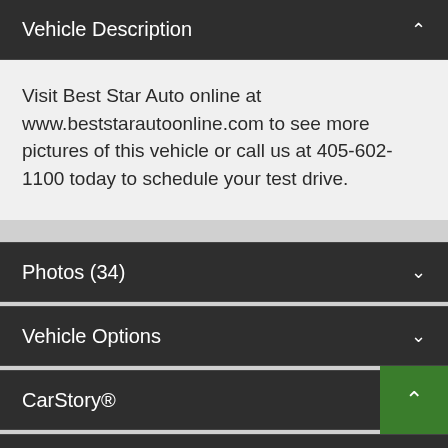Vehicle Description
Visit Best Star Auto online at www.beststarautoonline.com to see more pictures of this vehicle or call us at 405-602-1100 today to schedule your test drive.
Photos (34)
Vehicle Options
CarStory®
Send to a friend
Inquiry